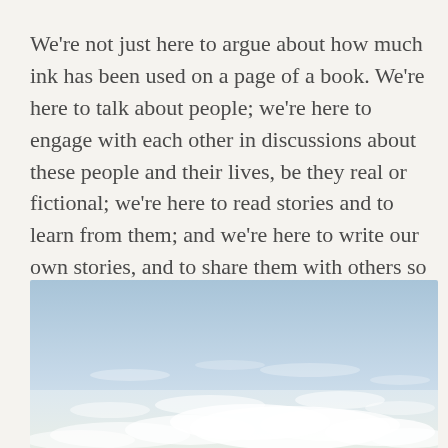We're not just here to argue about how much ink has been used on a page of a book. We're here to talk about people; we're here to engage with each other in discussions about these people and their lives, be they real or fictional; we're here to read stories and to learn from them; and we're here to write our own stories, and to share them with others so they can learn from us and us from them when, inevitably, disagreements and discussions ensue.
[Figure (photo): A sky photograph showing pale blue sky with scattered white clouds near the horizon, light and airy composition.]